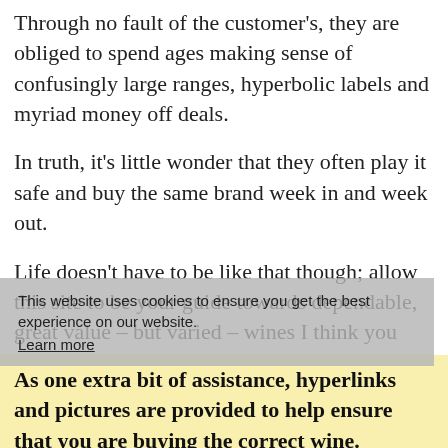Through no fault of the customer’s, they are obliged to spend ages making sense of confusingly large ranges, hyperbolic labels and myriad money off deals.
In truth, it’s little wonder that they often play it safe and buy the same brand week in and week out.
Life doesn’t have to be like that though; allow this site to be your guide towards dependable, great value – but varied – wines I think you will enjoy.
This website uses cookies to ensure you get the best experience on our website. Learn more
As one extra bit of assistance, hyperlinks and pictures are provided to help ensure that you are buying the correct wine.